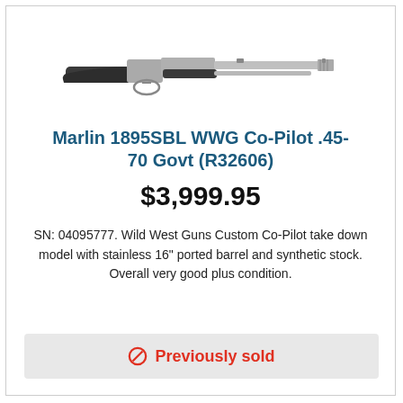[Figure (photo): Photograph of a Marlin 1895SBL WWG Co-Pilot lever-action rifle with stainless barrel and synthetic stock, shown in profile view]
Marlin 1895SBL WWG Co-Pilot .45-70 Govt (R32606)
$3,999.95
SN: 04095777. Wild West Guns Custom Co-Pilot take down model with stainless 16" ported barrel and synthetic stock. Overall very good plus condition.
Previously sold